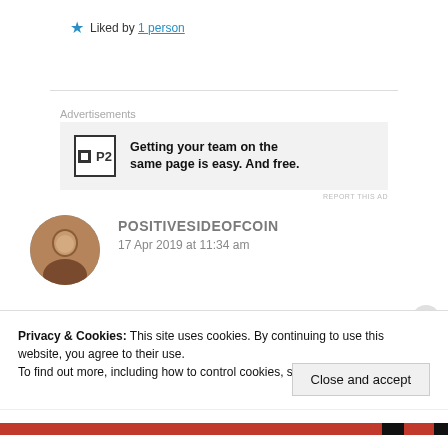★ Liked by 1 person
Advertisements
[Figure (other): Advertisement box with P2 logo and text: Getting your team on the same page is easy. And free.]
REPORT THIS AD
POSITIVESIDEOFCOIN
17 Apr 2019 at 11:34 am
Privacy & Cookies: This site uses cookies. By continuing to use this website, you agree to their use.
To find out more, including how to control cookies, see here: Cookie Policy
Close and accept